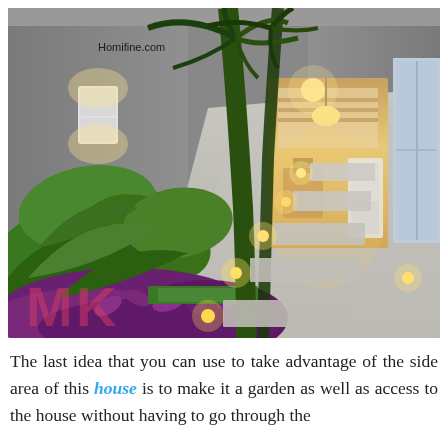[Figure (photo): Interior garden corridor of a house at night. A narrow pathway with concrete stepping stones embedded with small ground lights leads from the foreground toward a warmly lit kitchen/dining area in the background. Lush tropical plants including large green banana-like leaves, tall palm trees, and purple ground cover plants line the left side. Gray walls with white uplight wall sconces frame the space. The watermark 'Homifine.com' appears in the upper left, and stylized 'MK' logo letters appear in the lower left corner.]
The last idea that you can use to take advantage of the side area of this house is to make it a garden as well as access to the house without having to go through the